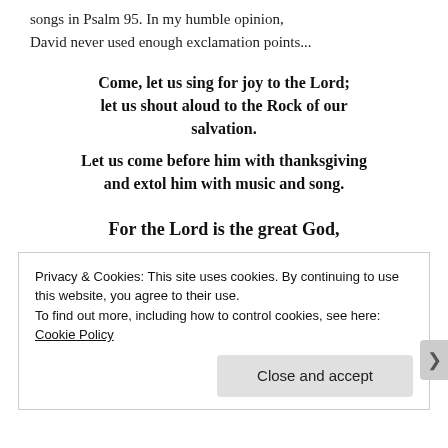songs in Psalm 95. In my humble opinion, David never used enough exclamation points...
Come, let us sing for joy to the Lord; let us shout aloud to the Rock of our salvation. Let us come before him with thanksgiving and extol him with music and song.
For the Lord is the great God,
Privacy & Cookies: This site uses cookies. By continuing to use this website, you agree to their use.
To find out more, including how to control cookies, see here: Cookie Policy
Close and accept